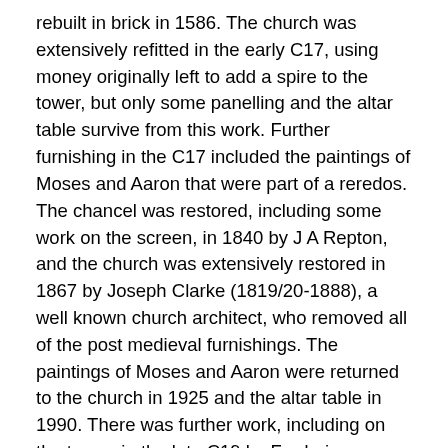rebuilt in brick in 1586. The church was extensively refitted in the early C17, using money originally left to add a spire to the tower, but only some panelling and the altar table survive from this work. Further furnishing in the C17 included the paintings of Moses and Aaron that were part of a reredos. The chancel was restored, including some work on the screen, in 1840 by J A Repton, and the church was extensively restored in 1867 by Joseph Clarke (1819/20-1888), a well known church architect, who removed all of the post medieval furnishings. The paintings of Moses and Aaron were returned to the church in 1925 and the altar table in 1990. There was further work, including on the tower, in the late C19 by Frederic Chancellor (1825-1918), a well known Essex church architect who was seven times mayor of Chelmsford. The large north parish rooms complex was added in 1979 to designs by Bryan Thomas and Partners, who worked elsewhere in Essex on churches and other buildings. It was extended in 1988.
SOURCES:
Bettley, J and Pevsner, N. Buildings of England: Essex. (2007)